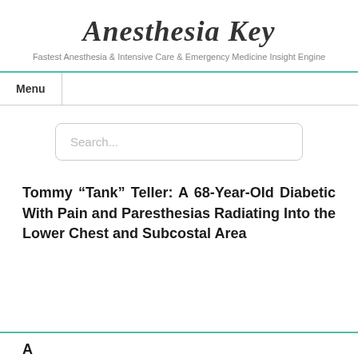Anesthesia Key
Fastest Anesthesia & Intensive Care & Emergency Medicine Insight Engine
Menu
Search...
Tommy “Tank” Teller: A 68-Year-Old Diabetic With Pain and Paresthesias Radiating Into the Lower Chest and Subcostal Area